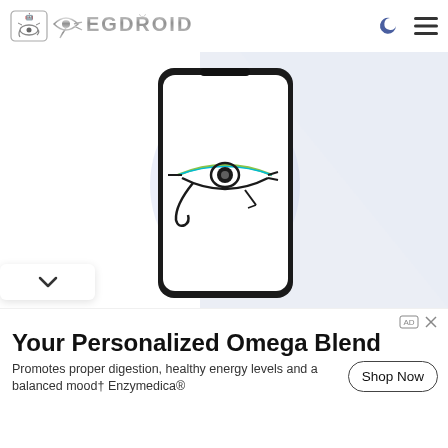[Figure (logo): EgDroid logo with Eye of Horus icon and stylized text 'EGDROID' in metallic gray letters]
[Figure (screenshot): Website screenshot showing EgDroid app page with a smartphone mockup displaying the Eye of Horus symbol. Background has a light blue-gray triangle/diagonal shape. Navigation icons (moon and hamburger menu) in top right. A dropdown chevron button at bottom left.]
[Figure (infographic): Advertisement banner: 'Your Personalized Omega Blend' with subtext 'Promotes proper digestion, healthy energy levels and a balanced mood† Enzymedica®' and a 'Shop Now' button. Ad icons at top right.]